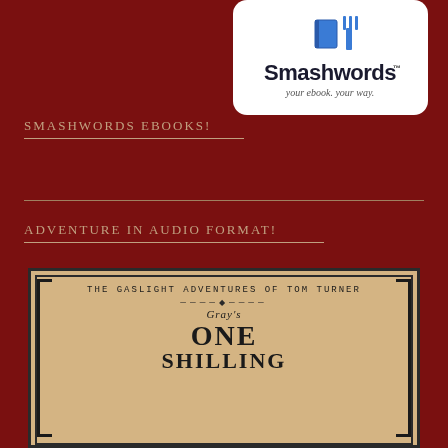[Figure (logo): Smashwords logo — white rounded rectangle with book/fork icon and text 'Smashwords your ebook. your way.']
SMASHWORDS EBOOKS!
ADVENTURE IN AUDIO FORMAT!
[Figure (illustration): Book cover for 'The Gaslight Adventures of Tom Turner — Gray's One Shilling' on aged parchment background with ornate Victorian typography and decorative border brackets.]